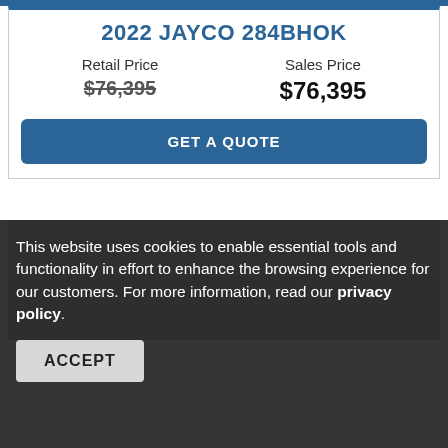2022 JAYCO 284BHOK
Retail Price
$76,395
Sales Price
$76,395
GET A QUOTE
[Figure (photo): Exterior photo of a Jayco RV/travel trailer against a blue sky background]
This website uses cookies to enable essential tools and functionality in effort to enhance the browsing experience for our customers. For more information, read our privacy policy.
ACCEPT